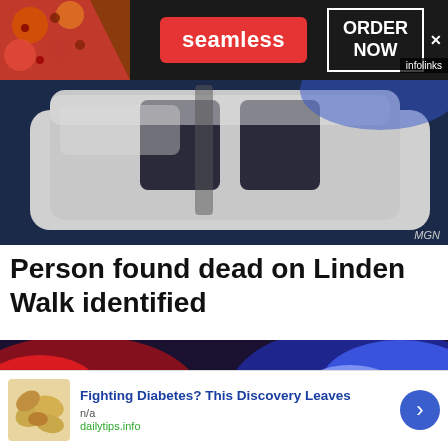[Figure (screenshot): Seamless food delivery advertisement banner with pizza image, Seamless logo in red, and ORDER NOW button]
[Figure (photo): Close-up photo of a white police car roof from above, dark blue tones, MGN watermark]
Person found dead on Linden Walk identified
[Figure (photo): Police car with red and blue emergency lights at night, infolinks badge]
[Figure (screenshot): Ad card: Fighting Diabetes? This Discovery Leaves — n/a — dailytips.info, with cashew nuts image and blue arrow button]